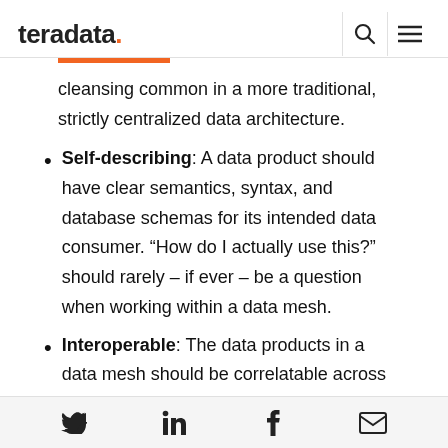teradata.
cleansing common in a more traditional, strictly centralized data architecture.
Self-describing: A data product should have clear semantics, syntax, and database schemas for its intended data consumer. “How do I actually use this?” should rarely – if ever – be a question when working within a data mesh.
Interoperable: The data products in a data mesh should be correlatable across domains. Joining them, for instance, should be
Twitter LinkedIn Facebook Email